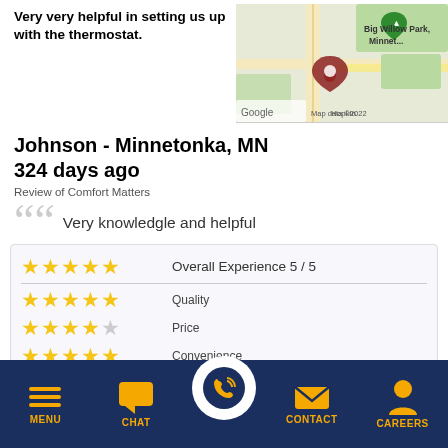Very very helpful in setting us up with the thermostat.
[Figure (map): Google Map showing Big Willow Park, Minnetonka area with a location pin. Shows roads, green areas, and text 'Hopkin'. Map data ©2022.]
Johnson - Minnetonka, MN
324 days ago
Review of Comfort Matters
Very knowledgle and helpful
| Stars | Category | Rating |
| --- | --- | --- |
| ★★★★★ | Overall Experience | 5 / 5 |
| ★★★★★ | Quality |  |
| ★★★★☆ | Price |  |
| ★★★★★ | Convenience |  |
MENU   CHAT   [CALL]   CONTACT   CAREERS